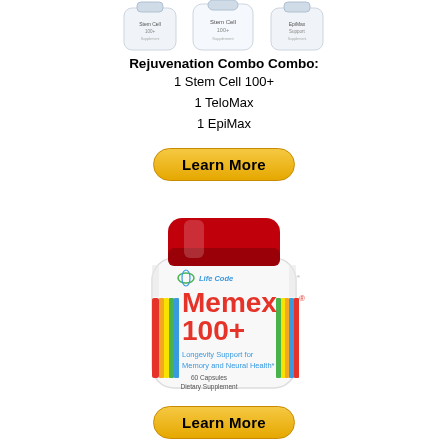[Figure (photo): Three white supplement bottles (Stem Cell 100+, TeloMax, EpiMax) shown partially at the top of the page]
Rejuvenation Combo Combo:
1 Stem Cell 100+
1 TeloMax
1 EpiMax
[Figure (other): Yellow rounded Learn More button]
[Figure (photo): Life Code Memex 100+ supplement bottle - white bottle with red cap, showing Longevity Support for Memory and Neural Health, 60 Capsules Dietary Supplement]
[Figure (other): Yellow rounded Learn More button at bottom]